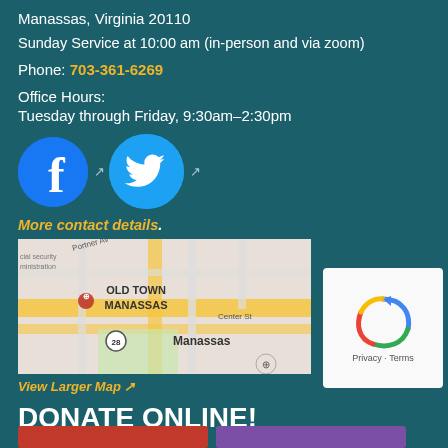Manassas, Virginia 20110
Sunday Service at 10:00 am (in-person and via zoom)
Phone: 703-361-6269
Office Hours:
Tuesday through Friday, 9:30am–2:30pm
[Figure (logo): Facebook and Twitter social media icons with expand arrow indicators]
More contact details.
[Figure (map): Google Maps showing Old Town Manassas area with streets including Portner Ave and Center St, Manassas Virginia]
View Larger Map
DONATE ONLINE!